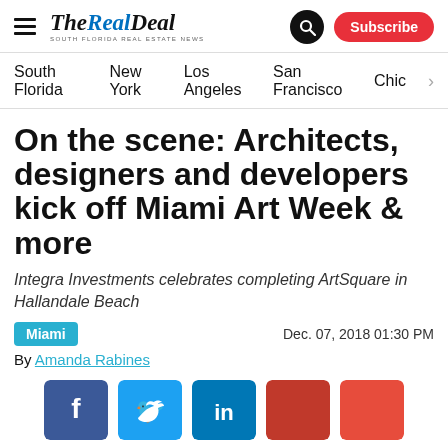THE REAL DEAL — SOUTH FLORIDA REAL ESTATE NEWS | Search | Subscribe
South Florida   New York   Los Angeles   San Francisco   Chic >
On the scene: Architects, designers and developers kick off Miami Art Week & more
Integra Investments celebrates completing ArtSquare in Hallandale Beach
Miami   Dec. 07, 2018 01:30 PM
By Amanda Rabines
[Figure (infographic): Social share buttons: Facebook, Twitter, LinkedIn, and two red share buttons]
57 Ocean developer hosts Arquitectonica book signing